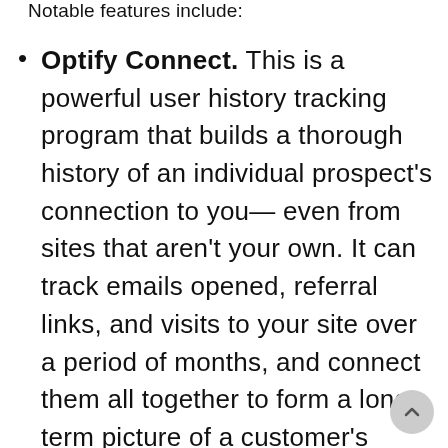Notable features include:
Optify Connect. This is a powerful user history tracking program that builds a thorough history of an individual prospect's connection to you—even from sites that aren't your own. It can track emails opened, referral links, and visits to your site over a period of months, and connect them all together to form a long-term picture of a customer's browsing behavior.